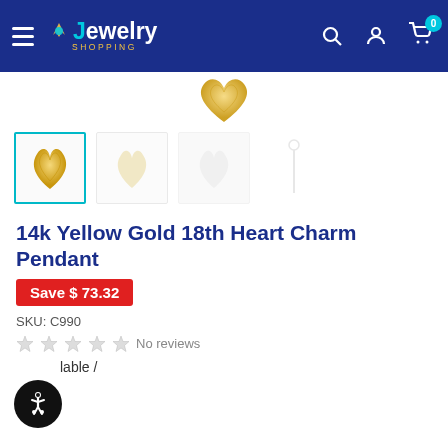Jewelry Shopping
[Figure (photo): Top portion of a gold heart charm pendant jewelry item image, partially visible at the top of the product page]
[Figure (photo): Row of 4 product thumbnail images showing the 14k Yellow Gold 18th Heart Charm Pendant from different angles; first thumbnail is selected with a teal border]
14k Yellow Gold 18th Heart Charm Pendant
Save $ 73.32
SKU: C990
No reviews
lable /